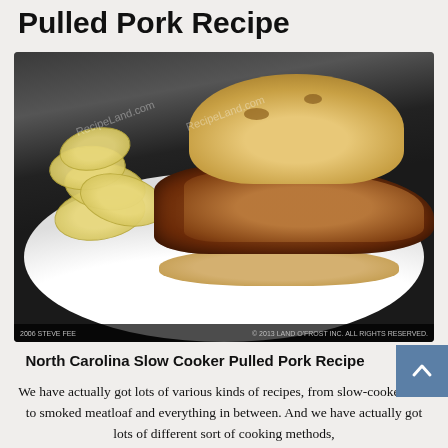Pulled Pork Recipe
[Figure (photo): A pulled pork sandwich on a white plate with potato chips on the side. The sandwich has a toasted bun filled with shredded BBQ pulled pork. RecipeLand.com watermark visible.]
North Carolina Slow Cooker Pulled Pork Recipe
We have actually got lots of various kinds of recipes, from slow-cooked ribs to smoked meatloaf and everything in between. And we have actually got lots of different sort of cooking methods,